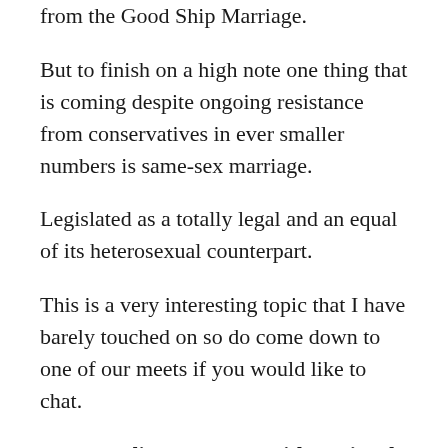…similar to set a limit to human desires rowing away from the Good Ship Marriage.
But to finish on a high note one thing that is coming despite ongoing resistance from conservatives in ever smaller numbers is same-sex marriage.
Legislated as a totally legal and an equal of its heterosexual counterpart.
This is a very interesting topic that I have barely touched on so do come down to one of our meets if you would like to chat.
I'm attending a Meetup with Peninsula Polyamory and Open Relationships Meetup
http://meetu.ps/2CmmTj